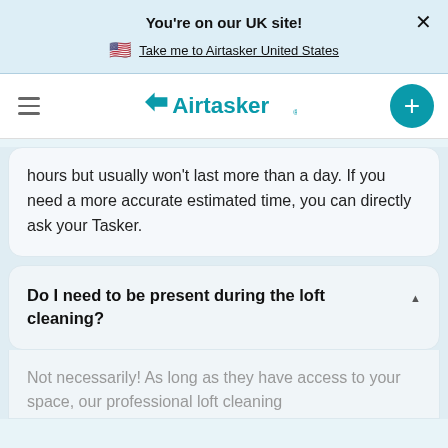You're on our UK site!
Take me to Airtasker United States
[Figure (logo): Airtasker logo with hamburger menu and plus button]
hours but usually won’t last more than a day. If you need a more accurate estimated time, you can directly ask your Tasker.
Do I need to be present during the loft cleaning?
Not necessarily! As long as they have access to your space, our professional loft cleaning